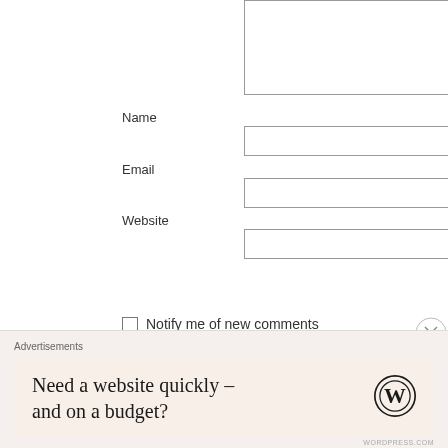Name
Email
Website
Post Comment
Notify me of new comments via email.
Advertisements
Need a website quickly – and on a budget?